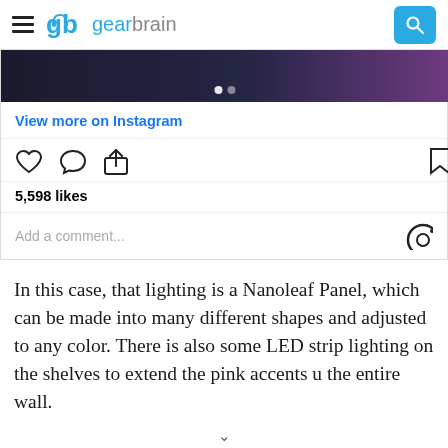gearbrain
[Figure (screenshot): Instagram embedded post top portion showing dark image with navigation dots and View more on Instagram link, action icons (heart, comment, share, bookmark), 5,598 likes, and Add a comment field]
In this case, that lighting is a Nanoleaf Panel, which can be made into many different shapes and adjusted to any color. There is also some LED strip lighting on the shelves to extend the pink accents u the entire wall.